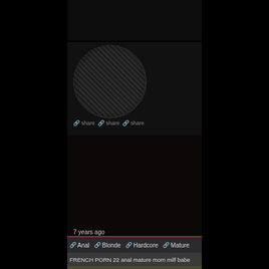[Figure (screenshot): Dark video thumbnail at top of page]
[Figure (screenshot): Dark video thumbnail mid page with mesh/fishnet pattern visible]
[Figure (screenshot): Dark lower video area with Close [X] button overlay]
7 years ago
🔗 Anal  🔗 Blonde  🔗 Hardcore  🔗 Mature
FRENCH PORN 22 anal mature mom milf babe